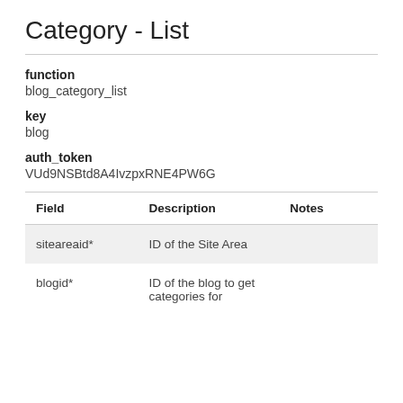Category - List
function
blog_category_list
key
blog
auth_token
VUd9NSBtd8A4IvzpxRNE4PW6G
| Field | Description | Notes |
| --- | --- | --- |
| siteareaid* | ID of the Site Area |  |
| blogid* | ID of the blog to get categories for |  |